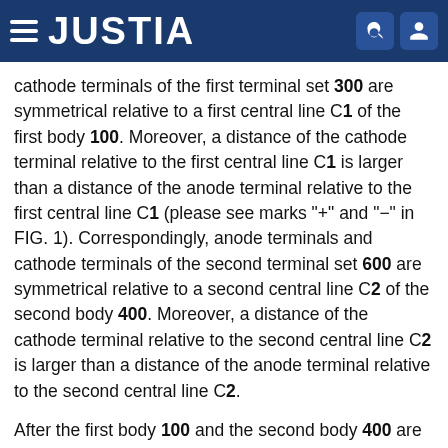JUSTIA
cathode terminals of the first terminal set 300 are symmetrical relative to a first central line C1 of the first body 100. Moreover, a distance of the cathode terminal relative to the first central line C1 is larger than a distance of the anode terminal relative to the first central line C1 (please see marks "+" and "−" in FIG. 1). Correspondingly, anode terminals and cathode terminals of the second terminal set 600 are symmetrical relative to a second central line C2 of the second body 400. Moreover, a distance of the cathode terminal relative to the second central line C2 is larger than a distance of the anode terminal relative to the second central line C2.
After the first body 100 and the second body 400 are combined together, the first central line C1 and the second central line C2 are consistent with each other.